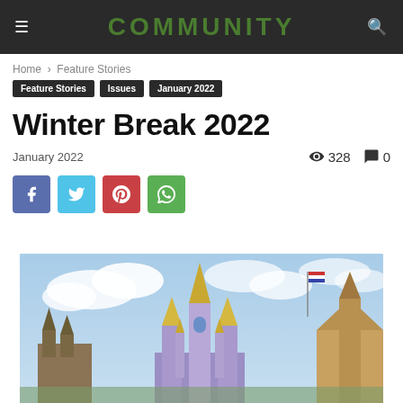COMMUNITY
Home › Feature Stories
Feature Stories
Issues
January 2022
Winter Break 2022
January 2022   328   0
[Figure (photo): Disney castle (Cinderella's Castle) with blue sky and clouds in the background, with colorful spires and a flag visible.]